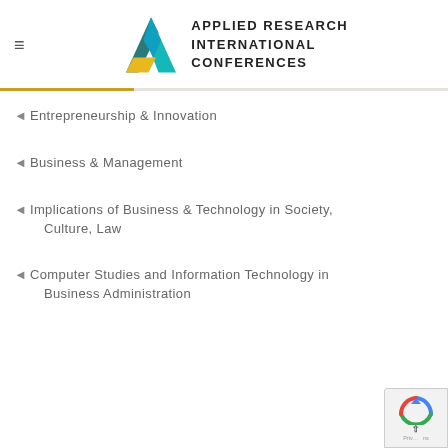[Figure (logo): Applied Research International Conferences logo with geometric A shape in teal, dark teal/blue, and gold colors, followed by organization name text]
Entrepreneurship & Innovation
Business & Management
Implications of Business & Technology in Society, Culture, Law
Computer Studies and Information Technology in Business Administration